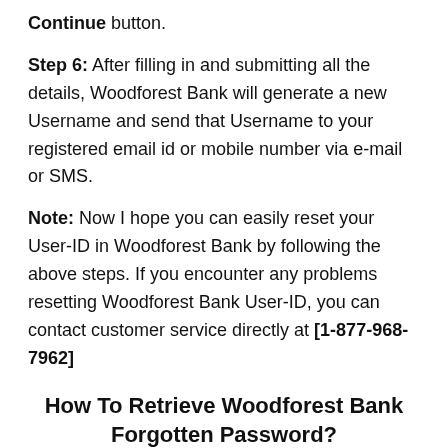Continue button.
Step 6: After filling in and submitting all the details, Woodforest Bank will generate a new Username and send that Username to your registered email id or mobile number via e-mail or SMS.
Note: Now I hope you can easily reset your User-ID in Woodforest Bank by following the above steps. If you encounter any problems resetting Woodforest Bank User-ID, you can contact customer service directly at [1-877-968-7962]
How To Retrieve Woodforest Bank Forgotten Password?
Let us now start with this guide and how to reset your forgotten password login to Woodforest Bank? Follow the